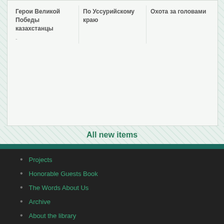Герои Великой Победы казахстанцы
По Уссурийскому краю
Охота за головами
All new items
Projects
Honorable Guests Book
The Words About Us
Archive
About the library